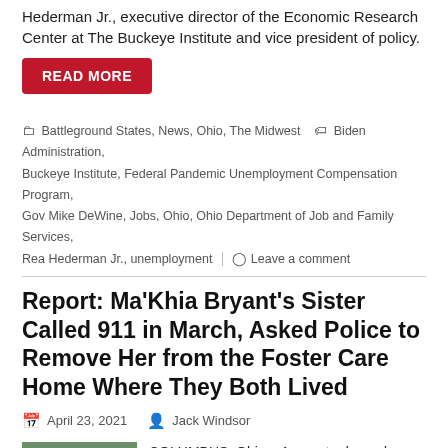Hederman Jr., executive director of the Economic Research Center at The Buckeye Institute and vice president of policy.
READ MORE
Battleground States, News, Ohio, The Midwest  Biden Administration, Buckeye Institute, Federal Pandemic Unemployment Compensation Program, Gov Mike DeWine, Jobs, Ohio, Ohio Department of Job and Family Services, Rea Hederman Jr., unemployment
Leave a comment
Report: Ma'Khia Bryant's Sister Called 911 in March, Asked Police to Remove Her from the Foster Care Home Where They Both Lived
April 23, 2021   Jack Windsor
[Figure (photo): Outdoor scene showing people near a car on a street/driveway]
COLUMBUS, Ohio – A report released Thursday night contains information on a 911 call and reveals two police reports linked to Ma'Khia Bryant's foster care home – one stating that Ma'Khia's younger